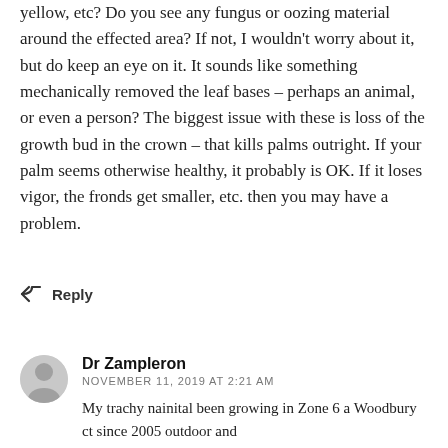yellow, etc? Do you see any fungus or oozing material around the effected area? If not, I wouldn't worry about it, but do keep an eye on it. It sounds like something mechanically removed the leaf bases – perhaps an animal, or even a person? The biggest issue with these is loss of the growth bud in the crown – that kills palms outright. If your palm seems otherwise healthy, it probably is OK. If it loses vigor, the fronds get smaller, etc. then you may have a problem.
↩ Reply
Dr Zampleron
NOVEMBER 11, 2019 AT 2:21 AM
My trachy nainital been growing in Zone 6 a Woodbury ct since 2005 outdoor and